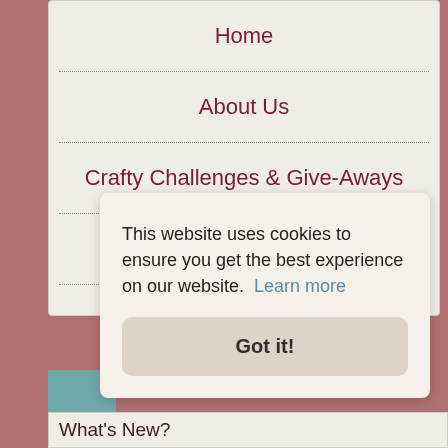Home
About Us
Crafty Challenges & Give-Aways
FAQ
This website uses cookies to ensure you get the best experience on our website.  Learn more
Got it!
What's New?